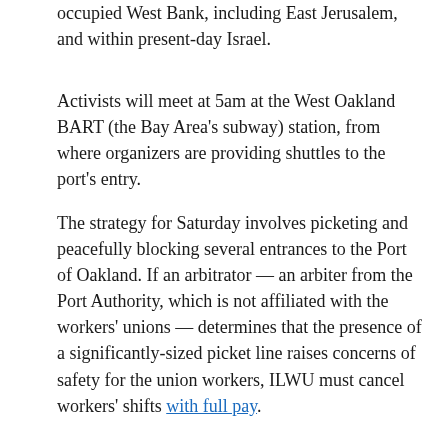occupied West Bank, including East Jerusalem, and within present-day Israel.
Activists will meet at 5am at the West Oakland BART (the Bay Area's subway) station, from where organizers are providing shuttles to the port's entry.
The strategy for Saturday involves picketing and peacefully blocking several entrances to the Port of Oakland. If an arbitrator — an arbiter from the Port Authority, which is not affiliated with the workers' unions — determines that the presence of a significantly-sized picket line raises concerns of safety for the union workers, ILWU must cancel workers' shifts with full pay.
Organizers are hoping to attract around 5,000 protesters to the port on Saturday. The number of participants is key — without the robust presence of a large number of people, it is difficult to be seen as sufficiently disruptive to call off work.